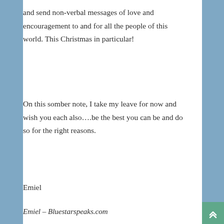and send non-verbal messages of love and encouragement to and for all the people of this world. This Christmas in particular!
On this somber note, I take my leave for now and wish you each also….be the best you can be and do so for the right reasons.
Emiel
Emiel – Bluestarspeaks.com